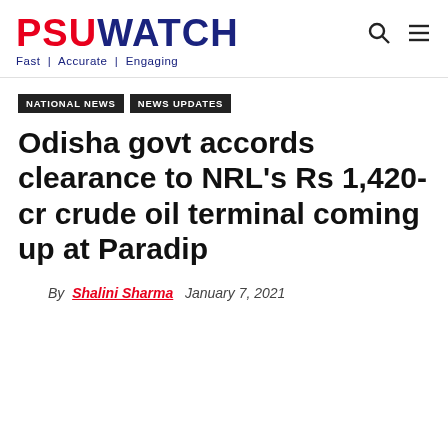PSUWATCH — Fast | Accurate | Engaging
NATIONAL NEWS | NEWS UPDATES
Odisha govt accords clearance to NRL's Rs 1,420-cr crude oil terminal coming up at Paradip
By Shalini Sharma   January 7, 2021